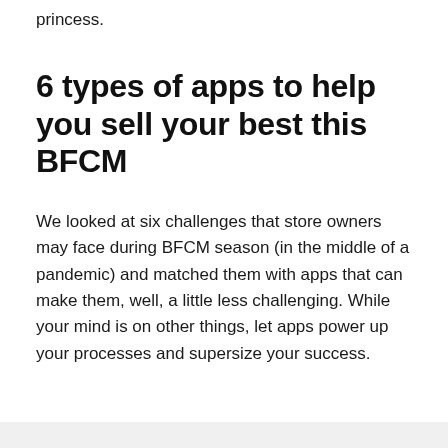princess.
6 types of apps to help you sell your best this BFCM
We looked at six challenges that store owners may face during BFCM season (in the middle of a pandemic) and matched them with apps that can make them, well, a little less challenging. While your mind is on other things, let apps power up your processes and supersize your success.